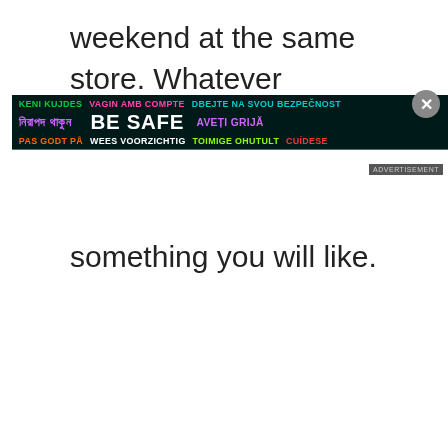weekend at the same store. Whatever
[Figure (infographic): Advertisement overlay banner with multilingual 'BE SAFE' message in colorful text on dark background, with a close (X) button and ADVERTISEMENT label]
something you will like.